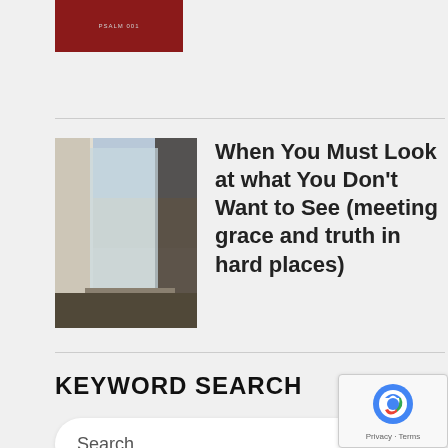[Figure (photo): Red book cover image thumbnail at top of page]
[Figure (photo): Photo of a window with curtains, used as article thumbnail]
When You Must Look at what You Don't Want to See (meeting grace and truth in hard places)
KEYWORD SEARCH
Search ...
[Figure (logo): Google reCAPTCHA badge with Privacy and Terms links]